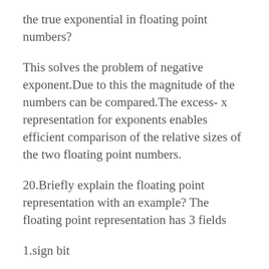the true exponential in floating point numbers?
This solves the problem of negative exponent.Due to this the magnitude of the numbers can be compared.The excess- x representation for exponents enables efficient comparison of the relative sizes of the two floating point numbers.
20.Briefly explain the floating point representation with an example? The floating point representation has 3 fields
1.sign bit
2.significiant bits